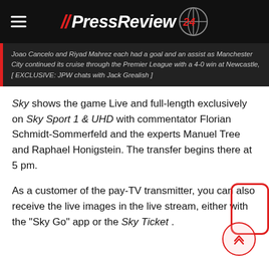//PressReview 24
Joao Cancelo and Riyad Mahrez each had a goal and an assist as Manchester City continued its cruise through the Premier League with a 4-0 win at Newcastle,[ EXCLUSIVE: JPW chats with Jack Grealish ]
Sky shows the game Live and full-length exclusively on Sky Sport 1 & UHD with commentator Florian Schmidt-Sommerfeld and the experts Manuel Tree and Raphael Honigstein. The transfer begins there at 5 pm.
As a customer of the pay-TV transmitter, you can also receive the live images in the live stream, either with the "Sky Go" app or the Sky Ticket .